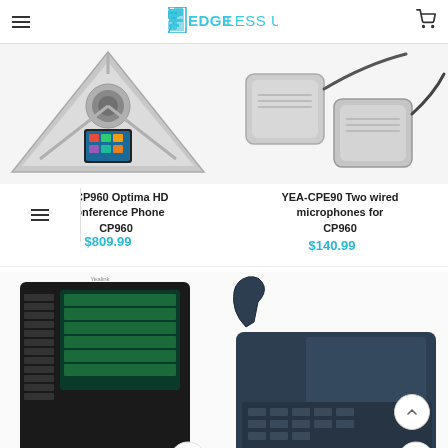EDGELESS UC
[Figure (photo): Yealink CP960 Optima HD IP Conference Phone viewed from above, silver/metallic triangular design with touchscreen]
A-CP960 Optima HD Conference Phone CP960
$809.99
[Figure (photo): YEA-CPE90 Two wired expansion microphones for CP960, silver square pucks with cables]
YEA-CPE90 Two wired microphones for CP960
$140.99
[Figure (photo): Yealink phone with large black expansion module EXP40 with color screen and buttons]
[Figure (photo): Yealink SIP-T4 series desk phone, dark blue/grey, with handset and keypad]